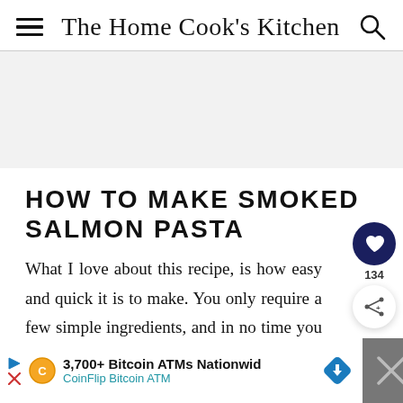The Home Cook's Kitchen
HOW TO MAKE SMOKED SALMON PASTA
What I love about this recipe, is how easy and quick it is to make. You only require a few simple ingredients, and in no time you have a gorgeous fresh pasta dish.
[Figure (other): Gray advertisement placeholder banner]
[Figure (other): Bottom advertisement banner: 3,700+ Bitcoin ATMs Nationwide - CoinFlip Bitcoin ATM]